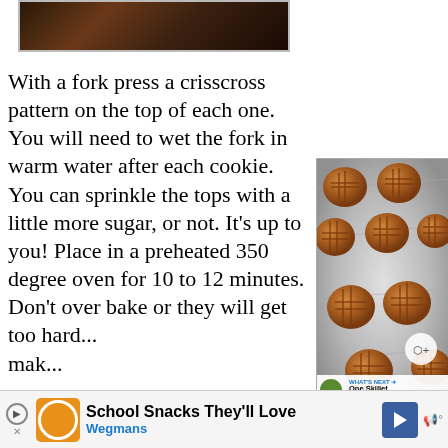[Figure (photo): Top portion of a photo showing peanut butter cookies on foil, partially cropped]
With a fork press a crisscross pattern on the top of each one.  You will need to wet the fork in warm water after each cookie.  You can sprinkle the tops with a little more sugar, or not.  It's up to you!  Place in a preheated 350 degree oven for 10 to 12 minutes.  Don't over bake or they will get too hard... make...
[Figure (photo): Photo of peanut butter cookies with crisscross fork marks arranged on aluminum foil, shown on a baking sheet. A share button and 'What's Next' preview overlay are visible.]